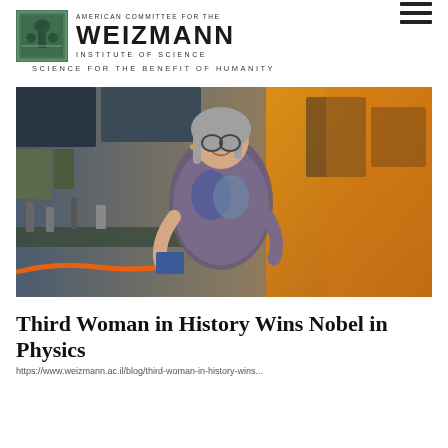AMERICAN COMMITTEE FOR THE WEIZMANN INSTITUTE OF SCIENCE — SCIENCE FOR THE BENEFIT OF HUMANITY
[Figure (photo): A woman with gray hair and glasses smiling in front of laboratory equipment and orange-lit scientific machinery]
Third Woman in History Wins Nobel in Physics
https://www.weizmann.ac.il/blog/third-woman-in-history-wins...